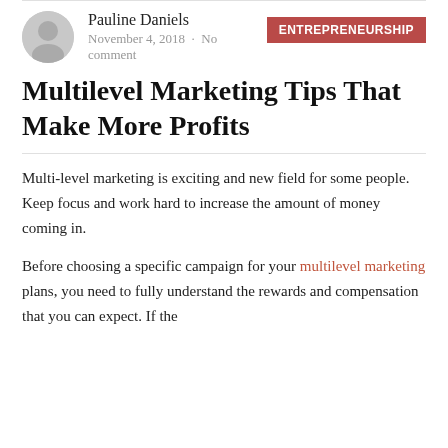Pauline Daniels  November 4, 2018 · No comment  ENTREPRENEURSHIP
Multilevel Marketing Tips That Make More Profits
Multi-level marketing is exciting and new field for some people. Keep focus and work hard to increase the amount of money coming in.
Before choosing a specific campaign for your multilevel marketing plans, you need to fully understand the rewards and compensation that you can expect. If the